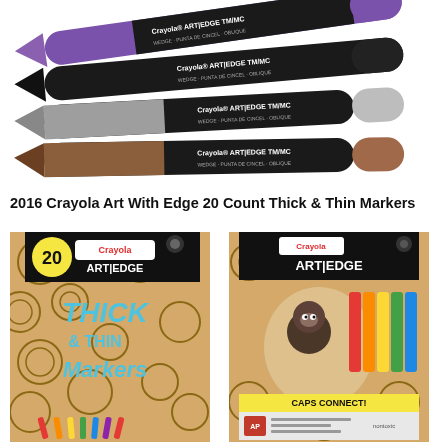[Figure (photo): Four Crayola Art with Edge wedge tip markers arranged diagonally — purple, black, gray, and brown — each labeled with 'Crayola Art with Edge TM/MC Wedge · Punta de Cincel · Oblique']
2016 Crayola Art With Edge 20 Count Thick & Thin Markers
[Figure (photo): Front of Crayola Art With Edge 20-count Thick & Thin Markers box — brown kraft-style packaging with yellow and black header showing '20', Crayola logo, and large blue italic text reading 'THICK & THIN Markers' with circular pattern background and colorful markers fanned at the bottom]
[Figure (photo): Back of Crayola Art With Edge 20-count Thick & Thin Markers box — showing a cartoon gorilla character colored with the markers, rainbow color swatches, a black marker tip, and product information including 'CAPS CONNECT!' feature text and AP certification seal]